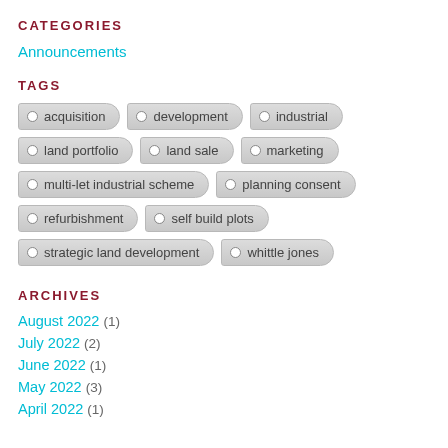CATEGORIES
Announcements
TAGS
acquisition
development
industrial
land portfolio
land sale
marketing
multi-let industrial scheme
planning consent
refurbishment
self build plots
strategic land development
whittle jones
ARCHIVES
August 2022 (1)
July 2022 (2)
June 2022 (1)
May 2022 (3)
April 2022 (1)